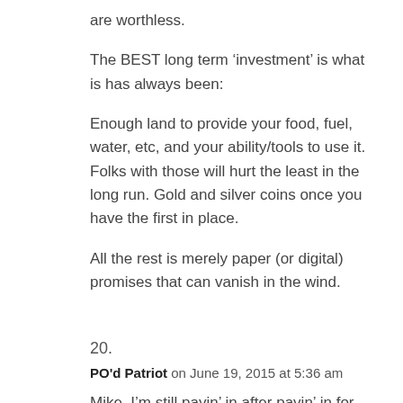are worthless.
The BEST long term ‘investment’ is what is has always been:
Enough land to provide your food, fuel, water, etc, and your ability/tools to use it. Folks with those will hurt the least in the long run. Gold and silver coins once you have the first in place.
All the rest is merely paper (or digital) promises that can vanish in the wind.
20.
PO’d Patriot on June 19, 2015 at 5:36 am
Mike, I’m still payin’ in after payin’ in for forty-four years. I’m going to get what due me either in this life before I’m done or the next. POP.